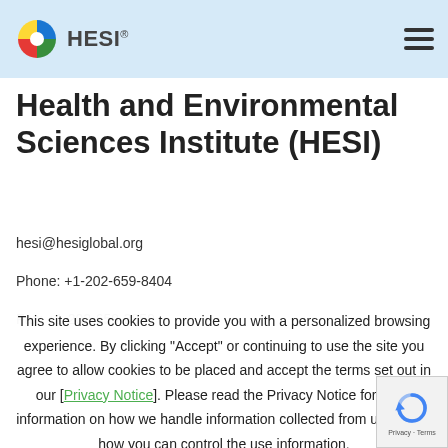[Figure (logo): HESI logo with colorful pinwheel icon and HESI text in dark gray, plus hamburger menu icon on right]
Health and Environmental Sciences Institute (HESI)
hesi@hesiglobal.org
Phone: +1-202-659-8404
Fax: +1-202-659-3859
This site uses cookies to provide you with a personalized browsing experience. By clicking “Accept” or continuing to use the site you agree to allow cookies to be placed and accept the terms set out in our [Privacy Notice]. Please read the Privacy Notice for more information on how we handle information collected from users and how you can control the use information.